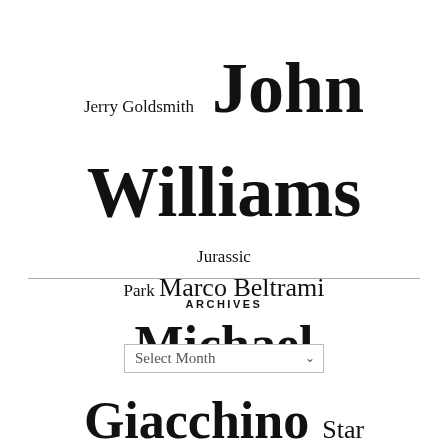[Figure (infographic): Tag cloud featuring names and titles: Jerry Goldsmith (small), John Williams (extra large), Jurassic (small), Park (small), Marco Beltrami (medium), Michael (large), Giacchino (large), Star Wars (medium-large), The Force Awakens (small), Trent (small), Reznor (medium)]
ARCHIVES
Select Month